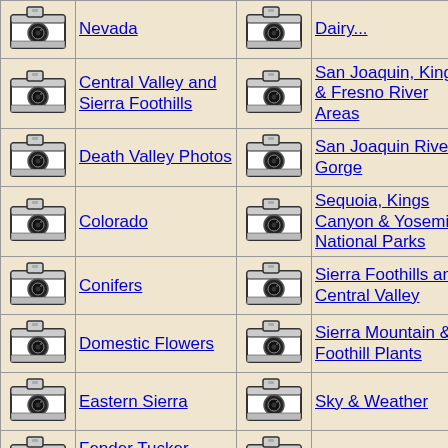Nevada
Dairy...
Central Valley and Sierra Foothills
San Joaquin, Kings & Fresno River Areas
Death Valley Photos
San Joaquin River Gorge
Colorado
Sequoia, Kings Canyon & Yosemite National Parks
Conifers
Sierra Foothills and Central Valley
Domestic Flowers
Sierra Mountain & Foothill Plants
Eastern Sierra
Sky & Weather
Fender Tucker Makes a
Slide Show Menu